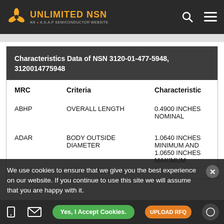UNLIMITED NSN — AN A.S.A.P SEMICONDUCTOR WEBSITE
| MRC | Criteria | Characteristic |
| --- | --- | --- |
| ABHP | OVERALL LENGTH | 0.4900 INCHES NOMINAL |
| ADAR | BODY OUTSIDE DIAMETER | 1.0640 INCHES MINIMUM AND 1.0650 INCHES MAXIMUM |
|  | BODY INSIDE |  |
We use cookies to ensure that we give you the best experience on our website. If you continue to use this site we will assume that you are happy with it.